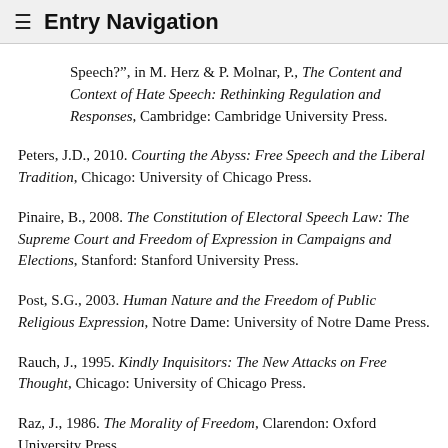≡ Entry Navigation
Speech?", in M. Herz & P. Molnar, P., The Content and Context of Hate Speech: Rethinking Regulation and Responses, Cambridge: Cambridge University Press.
Peters, J.D., 2010. Courting the Abyss: Free Speech and the Liberal Tradition, Chicago: University of Chicago Press.
Pinaire, B., 2008. The Constitution of Electoral Speech Law: The Supreme Court and Freedom of Expression in Campaigns and Elections, Stanford: Stanford University Press.
Post, S.G., 2003. Human Nature and the Freedom of Public Religious Expression, Notre Dame: University of Notre Dame Press.
Rauch, J., 1995. Kindly Inquisitors: The New Attacks on Free Thought, Chicago: University of Chicago Press.
Raz, J., 1986. The Morality of Freedom, Clarendon: Oxford University Press.